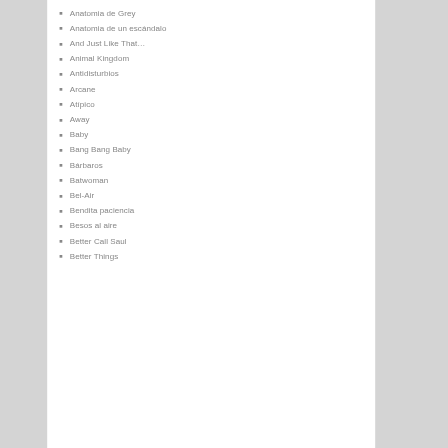Anatomia de Grey
Anatomia de un escándalo
And Just Like That…
Animal Kingdom
Antidisturbios
Arcane
Atípico
Away
Baby
Bang Bang Baby
Bárbaros
Batwoman
Bel-Air
Bendita paciencia
Besos al aire
Better Call Saul
Better Things